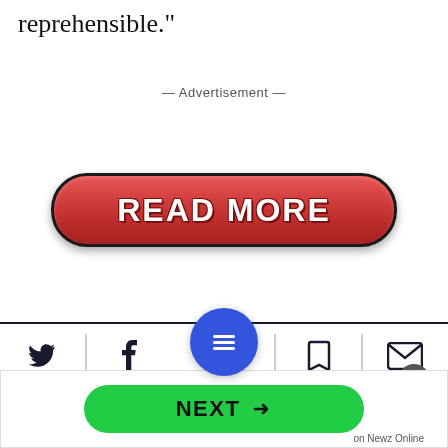reprehensible."
— Advertisement —
[Figure (other): Red pill-shaped READ MORE button with white bold text and dark border]
on Newz Online
[Figure (other): Navigation bar with Twitter, Facebook, hamburger menu (blue circle), bookmark, and email icons]
[Figure (other): Bottom banner with green NEXT → button, close X circle, and 'on Newz Online' label]